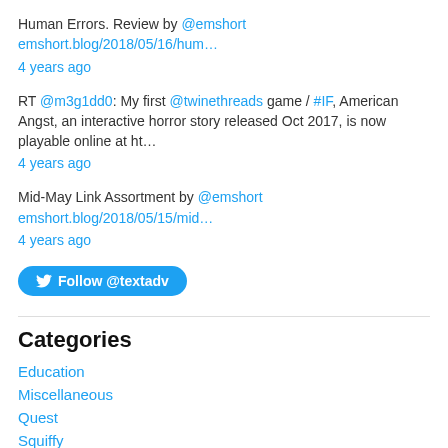Human Errors. Review by @emshort emshort.blog/2018/05/16/hum…
4 years ago
RT @m3g1dd0: My first @twinethreads game / #IF, American Angst, an interactive horror story released Oct 2017, is now playable online at ht…
4 years ago
Mid-May Link Assortment by @emshort emshort.blog/2018/05/15/mid…
4 years ago
Follow @textadv
Categories
Education
Miscellaneous
Quest
Squiffy
Text Adventures